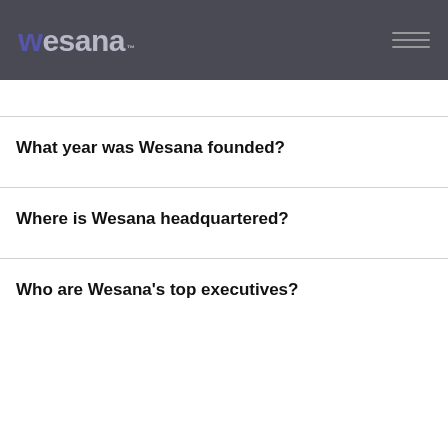wesana™
What year was Wesana founded?
Where is Wesana headquartered?
Who are Wesana's top executives?